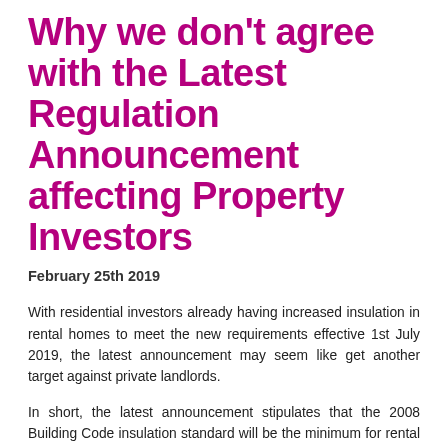Why we don't agree with the Latest Regulation Announcement affecting Property Investors
February 25th 2019
With residential investors already having increased insulation in rental homes to meet the new requirements effective 1st July 2019, the latest announcement may seem like get another target against private landlords.
In short, the latest announcement stipulates that the 2008 Building Code insulation standard will be the minimum for rental properties, with other requirements around provision of heating and extraction fans also coming into force.